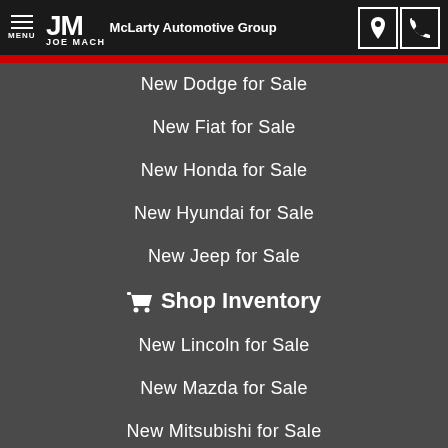JOE MACHENS McLarty Automotive Group
New Dodge for Sale
New Fiat for Sale
New Honda for Sale
New Hyundai for Sale
New Jeep for Sale
🛒 Shop Inventory
New Lincoln for Sale
New Mazda for Sale
New Mitsubishi for Sale
New Nissan for Sale
New Ram for Sale